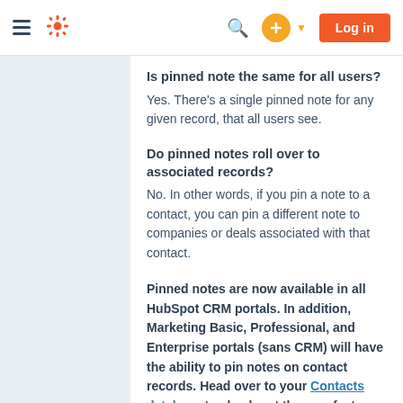[Figure (screenshot): HubSpot navigation bar with hamburger menu, HubSpot sprocket logo, search icon, orange plus button with caret, and orange Log in button]
Is pinned note the same for all users?
Yes. There's a single pinned note for any given record, that all users see.
Do pinned notes roll over to associated records?
No. In other words, if you pin a note to a contact, you can pin a different note to companies or deals associated with that contact.
Pinned notes are now available in all HubSpot CRM portals. In addition, Marketing Basic, Professional, and Enterprise portals (sans CRM) will have the ability to pin notes on contact records. Head over to your Contacts database to check out the new feature.